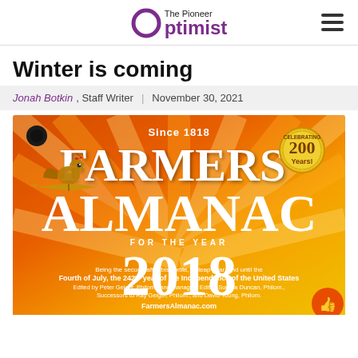The Pioneer Optimist
Winter is coming
Jonah Botkin, Staff Writer | November 30, 2021
[Figure (photo): Cover of the Farmers' Almanac for the year 2018. Orange and yellow background with sunburst rays. Text reads: Since 1818, FARMERS' ALMANAC, FOR THE YEAR, 2018. Being the second after bissextile, or leap year, and until the Fourth of July, the 242nd year of the Independence of the United States. Edited by Peter Geiger, Philom., and Managing Editor, Sondra Duncan, Philom., Successors to Ray Geiger, Philom., and David Young, Philom. FarmersAlmanac.com. A gold rooster weathervane is in the upper left and a gold 'Celebrating 200 Years!' badge is in the upper right.]